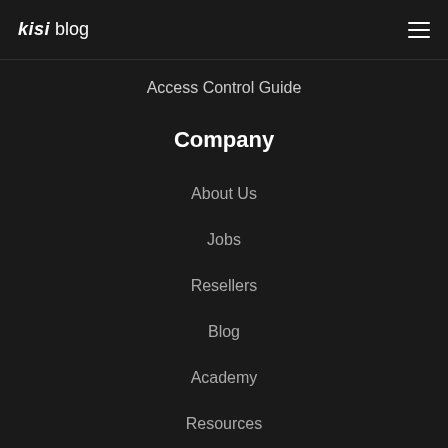kisi blog
Access Control Guide
Company
About Us
Jobs
Resellers
Blog
Academy
Resources